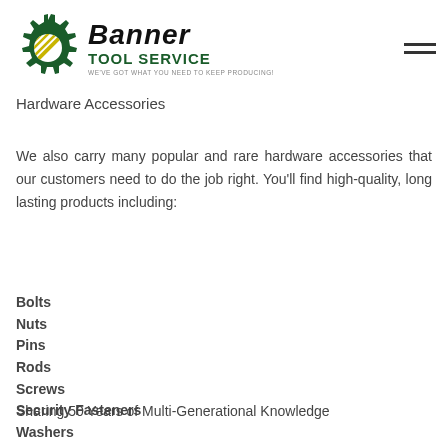[Figure (logo): Banner Tool Service logo: a green gear icon with diagonal yellow/gold lines overlaid, next to bold italic 'banner' text and 'TOOL SERVICE' subtitle in dark green, with slogan 'WE'VE GOT WHAT YOU NEED TO KEEP PRODUCING!' and a hamburger menu icon]
Hardware Accessories
We also carry many popular and rare hardware accessories that our customers need to do the job right. You'll find high-quality, long lasting products including:
Bolts
Nuts
Pins
Rods
Screws
Security Fasteners
Washers
And other hardware and accessories
Sharing 50 Years of Multi-Generational Knowledge